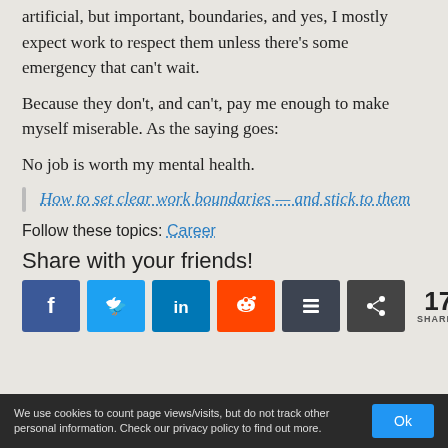artificial, but important, boundaries, and yes, I mostly expect work to respect them unless there's some emergency that can't wait.
Because they don't, and can't, pay me enough to make myself miserable. As the saying goes:
No job is worth my mental health.
How to set clear work boundaries — and stick to them
Follow these topics: Career
Share with your friends!
17 SHARES
We use cookies to count page views/visits, but do not track other personal information. Check our privacy policy to find out more.